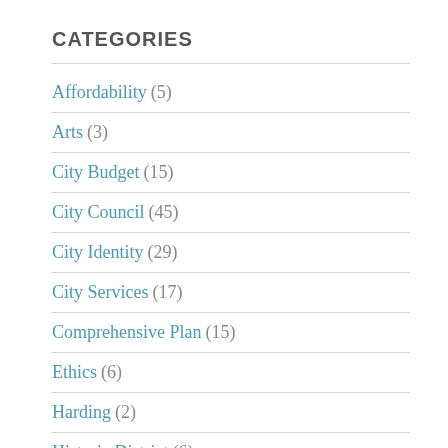CATEGORIES
Affordability (5)
Arts (3)
City Budget (15)
City Council (45)
City Identity (29)
City Services (17)
Comprehensive Plan (15)
Ethics (6)
Harding (2)
Historic District (6)